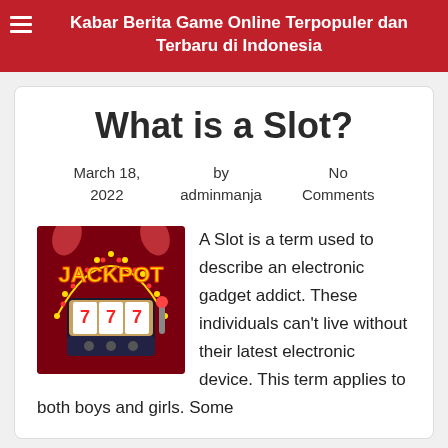Kabar Berita Game Online Terpopuler dan Terbaru di Indonesia
What is a Slot?
March 18, 2022   by adminmanja   No Comments
[Figure (illustration): Slot machine jackpot game illustration with red background and yellow JACKPOT text]
A Slot is a term used to describe an electronic gadget addict. These individuals can't live without their latest electronic device. This term applies to both boys and girls. Some